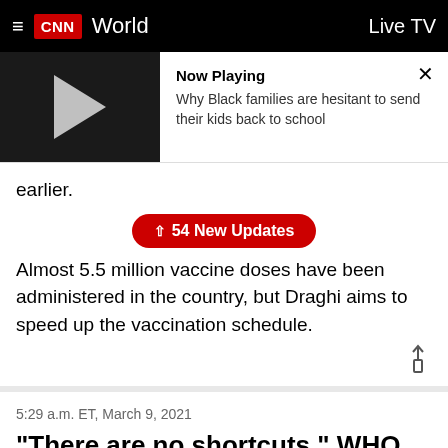CNN World | Live TV
[Figure (screenshot): Video player thumbnail with play button and 'Now Playing' panel showing 'Why Black families are hesitant to send their kids back to school']
earlier.
↑ 54 New Updates
Almost 5.5 million vaccine doses have been administered in the country, but Draghi aims to speed up the vaccination schedule.
5:29 a.m. ET, March 9, 2021
"There are no shortcuts," WHO director-general says ahead of pandemic's first anniversary